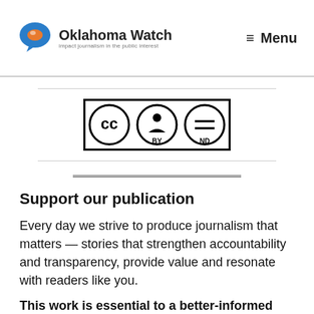Oklahoma Watch — impact journalism in the public interest | Menu
[Figure (logo): Creative Commons BY-ND license badge with CC, person, and equals icons in black and white]
Support our publication
Every day we strive to produce journalism that matters — stories that strengthen accountability and transparency, provide value and resonate with readers like you.
This work is essential to a better-informed